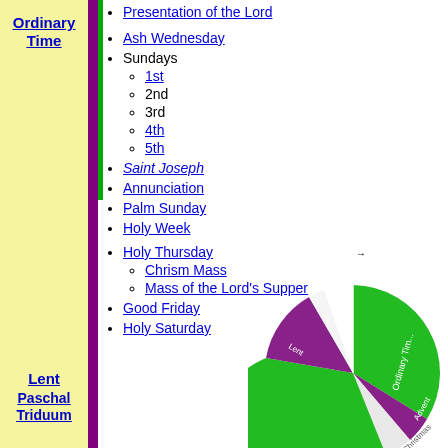Ordinary Time
Presentation of the Lord
Ash Wednesday
Sundays
1st
2nd
3rd
4th
5th
Saint Joseph
Annunciation
Palm Sunday
Holy Week
Lent
Holy Thursday
Chrism Mass
Mass of the Lord's Supper
Good Friday
Holy Saturday
Paschal Triduum
[Figure (pie-chart): Pie chart showing liturgical seasons of the year in green and purple colors]